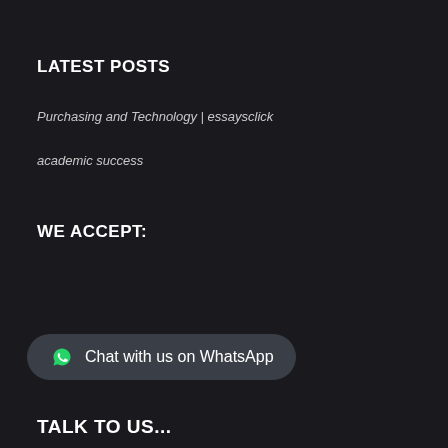LATEST POSTS
Purchasing and Technology | essaysclick
academic success
WE ACCEPT:
Chat with us on WhatsApp
TALK TO US...